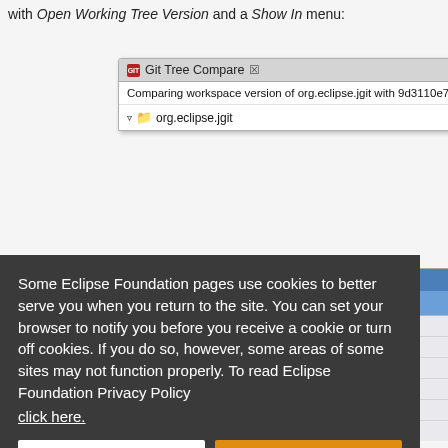with Open Working Tree Version and a Show In menu:
[Figure (screenshot): Git Tree Compare Eclipse panel showing 'Comparing workspace version of org.eclipse.jgit with 9d3110e7...' and org.eclipse.jgit tree node]
[Figure (screenshot): Partially visible right-click context menu with items: Open Working..., Show In, Run As, Debug As, Team, Compare With, Replace With, JDE Tools]
Some Eclipse Foundation pages use cookies to better serve you when you return to the site. You can set your browser to notify you before you receive a cookie or turn off cookies. If you do so, however, some areas of some sites may not function properly. To read Eclipse Foundation Privacy Policy
click here.
Decline
Allow cookies
Tree Compare View.